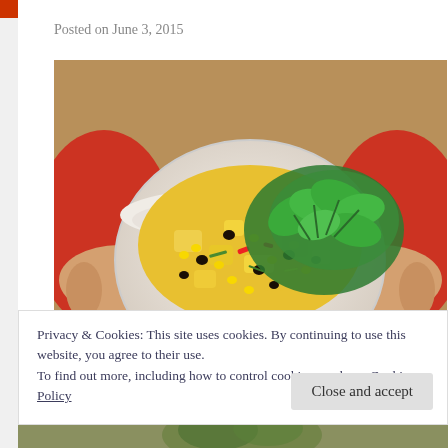Posted on June 3, 2015
[Figure (photo): Person in red top holding a white bowl filled with a colorful mango, corn, black bean, and cilantro salsa, garnished with fresh cilantro sprigs.]
Privacy & Cookies: This site uses cookies. By continuing to use this website, you agree to their use.
To find out more, including how to control cookies, see here: Cookie Policy
Close and accept